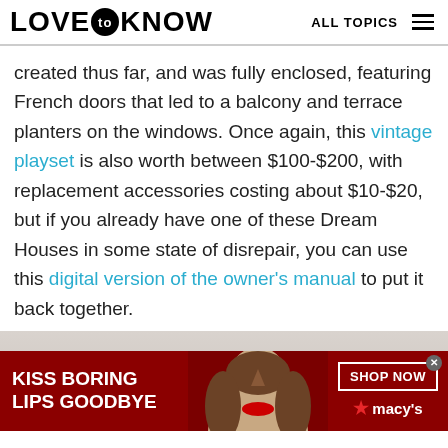LOVE to KNOW   ALL TOPICS
created thus far, and was fully enclosed, featuring French doors that led to a balcony and terrace planters on the windows. Once again, this vintage playset is also worth between $100-$200, with replacement accessories costing about $10-$20, but if you already have one of these Dream Houses in some state of disrepair, you can use this digital version of the owner's manual to put it back together.
[Figure (photo): Partial view of an image below the article text, with an advertisement banner overlaid at the bottom showing 'KISS BORING LIPS GOODBYE' with a woman's face and Macy's branding.]